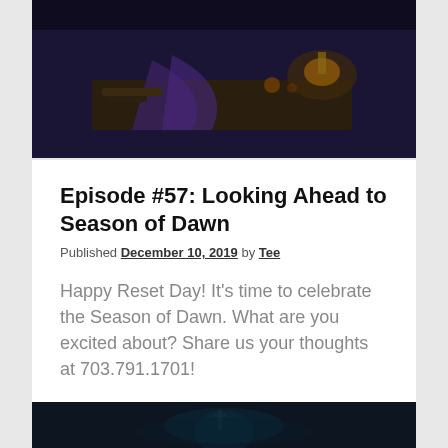[Figure (photo): Dark moody game screenshot showing a cluttered table with candles and fantasy items, purple/dark blue lighting]
Episode #57: Looking Ahead to Season of Dawn
Published December 10, 2019 by Tee
Happy Reset Day! It's time to celebrate the Season of Dawn. What are you excited about? Share us your thoughts at 703.791.1701!
Continue reading   Leave a Comment
[Figure (photo): Dark game screenshot with a figure silhouetted against a dim teal/green lit environment]